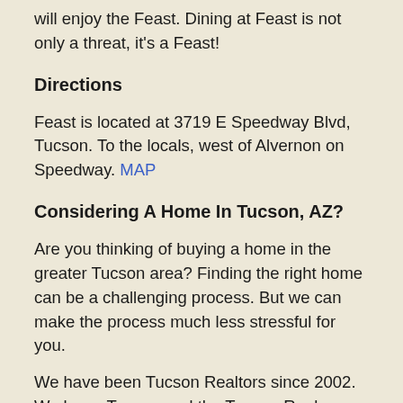will enjoy the Feast. Dining at Feast is not only a threat, it's a Feast!
Directions
Feast is located at 3719 E Speedway Blvd, Tucson. To the locals, west of Alvernon on Speedway. MAP
Considering A Home In Tucson, AZ?
Are you thinking of buying a home in the greater Tucson area? Finding the right home can be a challenging process. But we can make the process much less stressful for you.
We have been Tucson Realtors since 2002. We know Tucson and the Tucson Real Estate market. As a top Realtor team, we invest the time to understand your home buying interests and desires. At our first meeting, we will review the current real estate market with you. Show you